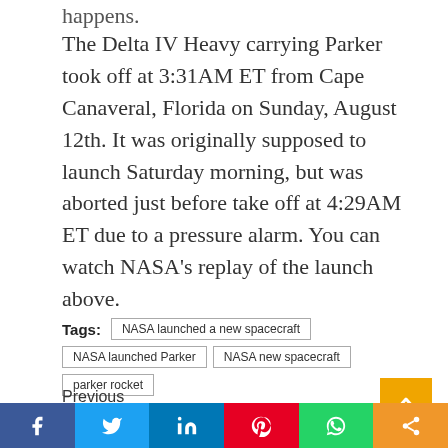happens.
The Delta IV Heavy carrying Parker took off at 3:31AM ET from Cape Canaveral, Florida on Sunday, August 12th. It was originally supposed to launch Saturday morning, but was aborted just before take off at 4:29AM ET due to a pressure alarm. You can watch NASA's replay of the launch above.
Tags: NASA launched a new spacecraft
NASA launched Parker | NASA new spacecraft | parker rocket
Previous
[Figure (photo): Thumbnail image of previous article (dark/night scene)]
[Figure (infographic): Social sharing bar with Facebook, Twitter, LinkedIn, Pinterest, WhatsApp, Share buttons]